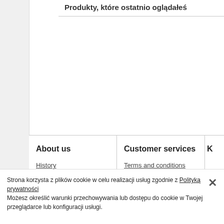Produkty, które ostatnio oglądałeś
About us
History
Help
References
Our stores
Our partners
Business solutions
Architects and designers
Customer services
Terms and conditions
Returns and Refunds
Delivery
Stock availability
Payments
Site map
Cookie policy
Strona korzysta z plików cookie w celu realizacji usług zgodnie z Polityką prywatności
Możesz określić warunki przechowywania lub dostępu do cookie w Twojej przeglądarce lub konfiguracji usługi.